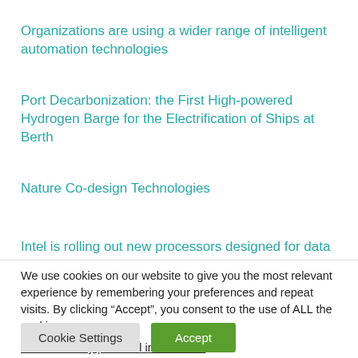Organizations are using a wider range of intelligent automation technologies
Port Decarbonization: the First High-powered Hydrogen Barge for the Electrification of Ships at Berth
Nature Co-design Technologies
Intel is rolling out new processors designed for data centers
We use cookies on our website to give you the most relevant experience by remembering your preferences and repeat visits. By clicking “Accept”, you consent to the use of ALL the cookies.
Do not sell my personal information.